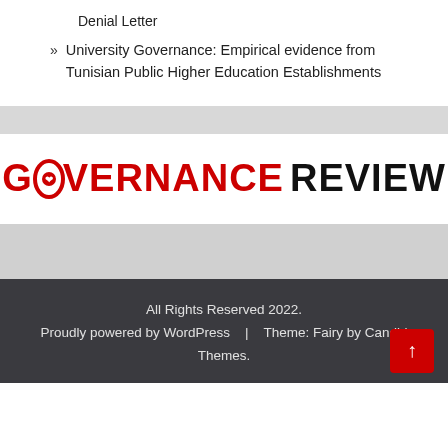Denial Letter
University Governance: Empirical evidence from Tunisian Public Higher Education Establishments
[Figure (logo): Governance Review logo with red maple leaf inside letter O]
All Rights Reserved 2022. Proudly powered by WordPress | Theme: Fairy by Candid Themes.